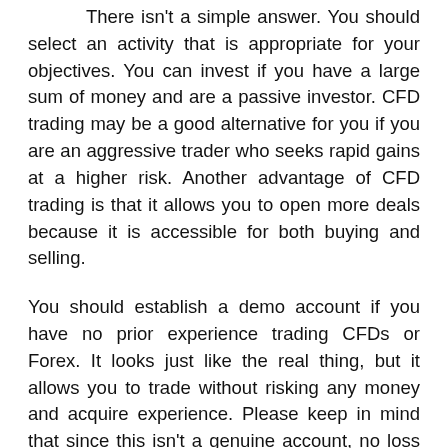There isn't a simple answer. You should select an activity that is appropriate for your objectives. You can invest if you have a large sum of money and are a passive investor. CFD trading may be a good alternative for you if you are an aggressive trader who seeks rapid gains at a higher risk. Another advantage of CFD trading is that it allows you to open more deals because it is accessible for both buying and selling.
You should establish a demo account if you have no prior experience trading CFDs or Forex. It looks just like the real thing, but it allows you to trade without risking any money and acquire experience. Please keep in mind that since this isn't a genuine account, no loss means any profit.